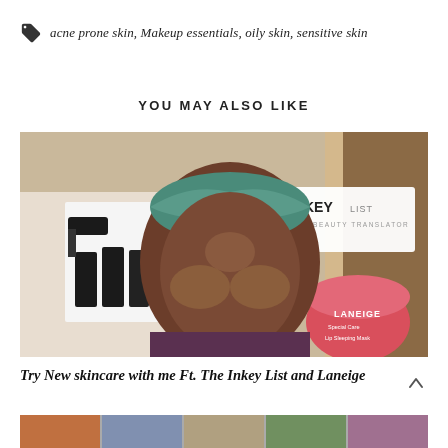acne prone skin, Makeup essentials, oily skin, sensitive skin
YOU MAY ALSO LIKE
[Figure (photo): Woman applying skincare products to her face, with The Inkey List branding and a Laneige Lip Sleeping Mask product shown]
Try New skincare with me Ft. The Inkey List and Laneige
[Figure (photo): Bottom strip showing another article thumbnail]